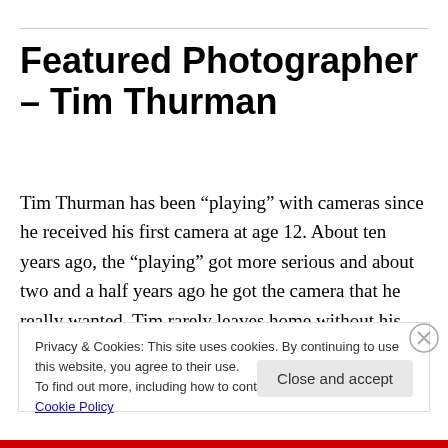Featured Photographer – Tim Thurman
Tim Thurman has been “playing” with cameras since he received his first camera at age 12. About ten years ago, the “playing” got more serious and about two and a half years ago he got the camera that he really wanted. Tim rarely leaves home without his camera, a Canon, and Canon and Sigma lenses. Tim’s favorite things to
Privacy & Cookies: This site uses cookies. By continuing to use this website, you agree to their use.
To find out more, including how to control cookies, see here: Cookie Policy